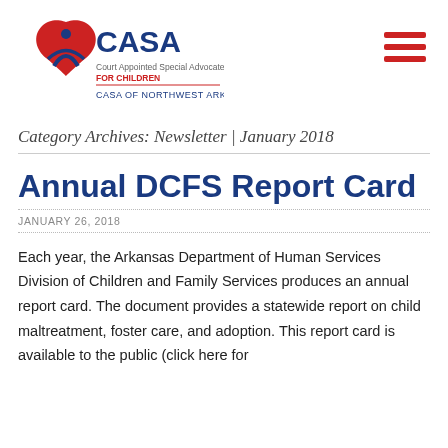[Figure (logo): CASA Court Appointed Special Advocates for Children - CASA of Northwest Arkansas logo with red heart and blue figure icon]
Category Archives: Newsletter | January 2018
Annual DCFS Report Card
JANUARY 26, 2018
Each year, the Arkansas Department of Human Services Division of Children and Family Services produces an annual report card. The document provides a statewide report on child maltreatment, foster care, and adoption. This report card is available to the public (click here for